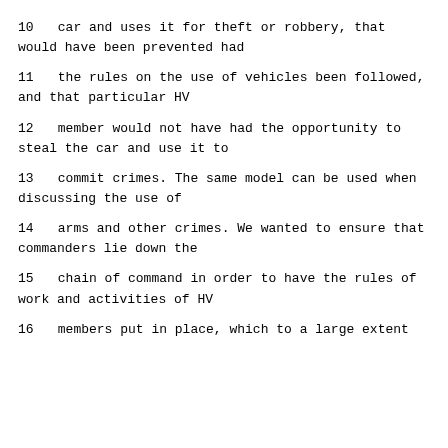10      car and uses it for theft or robbery, that would have been prevented had
11      the rules on the use of vehicles been followed, and that particular HV
12      member would not have had the opportunity to steal the car and use it to
13      commit crimes.  The same model can be used when discussing the use of
14      arms and other crimes.  We wanted to ensure that commanders lie down the
15      chain of command in order to have the rules of work and activities of HV
16      members put in place, which to a large extent